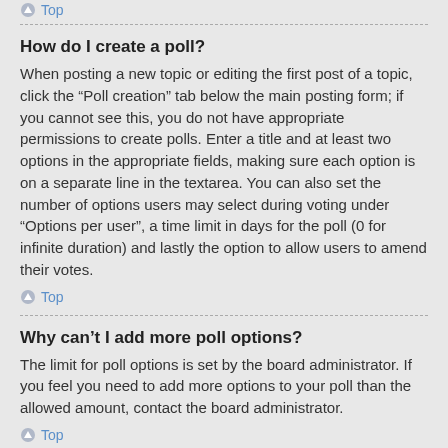Top
How do I create a poll?
When posting a new topic or editing the first post of a topic, click the “Poll creation” tab below the main posting form; if you cannot see this, you do not have appropriate permissions to create polls. Enter a title and at least two options in the appropriate fields, making sure each option is on a separate line in the textarea. You can also set the number of options users may select during voting under “Options per user”, a time limit in days for the poll (0 for infinite duration) and lastly the option to allow users to amend their votes.
Top
Why can’t I add more poll options?
The limit for poll options is set by the board administrator. If you feel you need to add more options to your poll than the allowed amount, contact the board administrator.
Top
How do I edit or delete a poll?
As with posts, polls can only be edited by the original poster, a